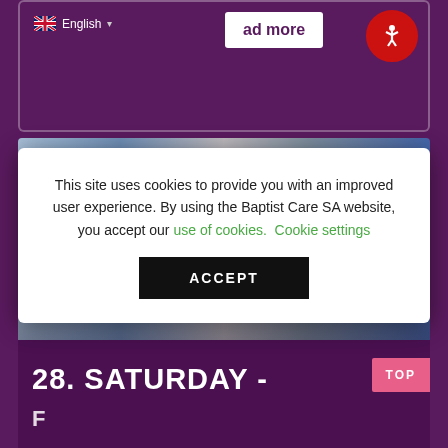[Figure (screenshot): Purple card with English language selector dropdown and 'ad more' button partially visible, accessibility icon in top-right corner]
This site uses cookies to provide you with an improved user experience. By using the Baptist Care SA website, you accept our use of cookies. Cookie settings
ACCEPT
[Figure (photo): Image strip showing a cat with blue/grey tones, partially obscured by the cookie modal overlay]
28. SATURDAY -
TOP